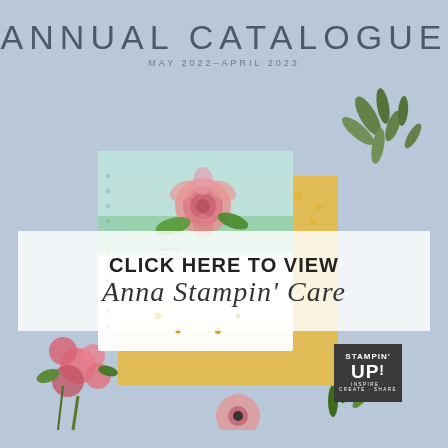ANNUAL CATALOGUE
MAY 2022–APRIL 2023
[Figure (photo): Stampin' Up! Annual Catalogue cover showing handmade floral cards with watercolor flowers (pink roses, anemones), greenery, gold embellishments on a blue-grey background with fresh flowers in corner]
CLICK HERE TO VIEW
Anna Stampin' Care
[Figure (logo): Stampin' Up! logo — dark square with STAMPIN' UP! text and tagline INSPIRE CREATE SHARE]